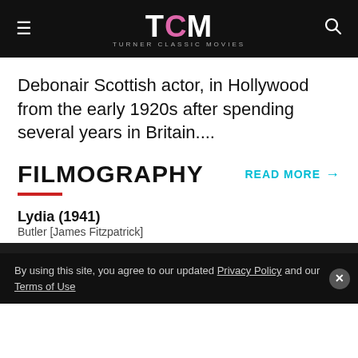TCM TURNER CLASSIC MOVIES
Debonair Scottish actor, in Hollywood from the early 1920s after spending several years in Britain....
FILMOGRAPHY
READ MORE →
Lydia (1941)
Butler [James Fitzpatrick]
The Philadelphia Story (1940)
Seth Lord
Escape to Glory (1940)
By using this site, you agree to our updated Privacy Policy and our Terms of Use